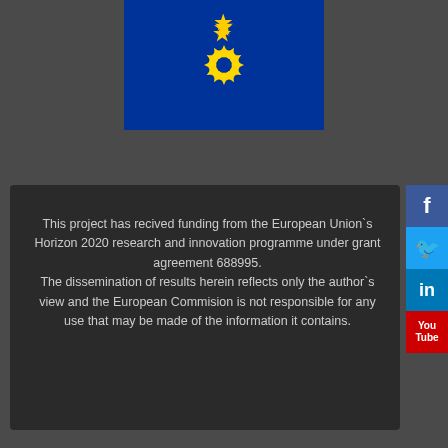[Figure (logo): European Union flag — blue rectangle with yellow stars in a circle pattern, partially cropped at top]
This project has recived funding from the European Union`s Horizon 2020 research and innovation programme under grant agreement 688995. The dissemination of results herein reflects only the author`s view and the European Commision is not responsible for any use that may be made of the information it contains.
[Figure (infographic): Social media buttons column on right side: Facebook (blue with f), Twitter (light blue with bird symbol), LinkedIn (dark blue with in), YouTube (red with You Tube text)]